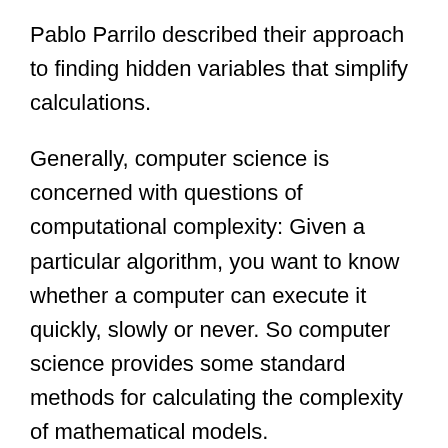Pablo Parrilo described their approach to finding hidden variables that simplify calculations.
Generally, computer science is concerned with questions of computational complexity: Given a particular algorithm, you want to know whether a computer can execute it quickly, slowly or never. So computer science provides some standard methods for calculating the complexity of mathematical models.
If you have an equation that describes the complexity of a mathematical model, you want to find its minimum values: where the complexity is lowest, the model is simplest, and thus easiest to work with. If you imagine the graph of the equation